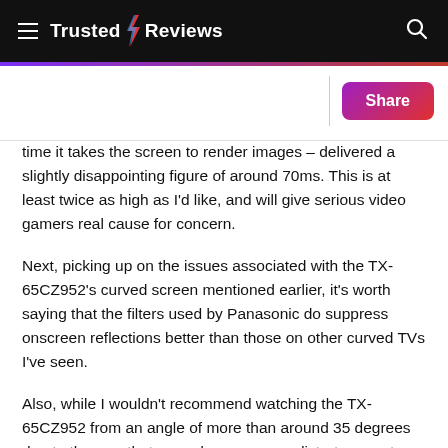Trusted Reviews
time it takes the screen to render images – delivered a slightly disappointing figure of around 70ms. This is at least twice as high as I'd like, and will give serious video gamers real cause for concern.
Next, picking up on the issues associated with the TX-65CZ952's curved screen mentioned earlier, it's worth saying that the filters used by Panasonic do suppress onscreen reflections better than those on other curved TVs I've seen.
Also, while I wouldn't recommend watching the TX-65CZ952 from an angle of more than around 35 degrees due to the way that curved screens can distort geometry,